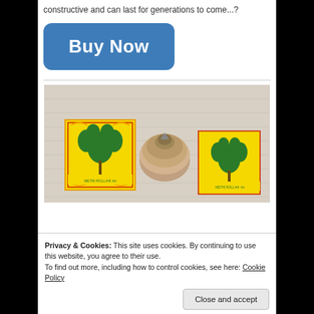constructive and can last for generations to come...?
[Figure (other): Blue 'Buy Now' button with rounded corners]
[Figure (photo): Photo of two yellow square packets with green plant illustration and a round metal piece on white cloth background]
Privacy & Cookies: This site uses cookies. By continuing to use this website, you agree to their use.
To find out more, including how to control cookies, see here: Cookie Policy
Close and accept